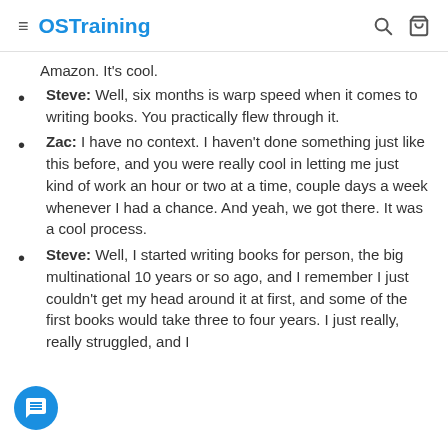OSTraining
Amazon. It's cool.
Steve: Well, six months is warp speed when it comes to writing books. You practically flew through it.
Zac: I have no context. I haven't done something just like this before, and you were really cool in letting me just kind of work an hour or two at a time, couple days a week whenever I had a chance. And yeah, we got there. It was a cool process.
Steve: Well, I started writing books for person, the big multinational 10 years or so ago, and I remember I just couldn't get my head around it at first, and some of the first books would take three to four years. I just really, really struggled, and I